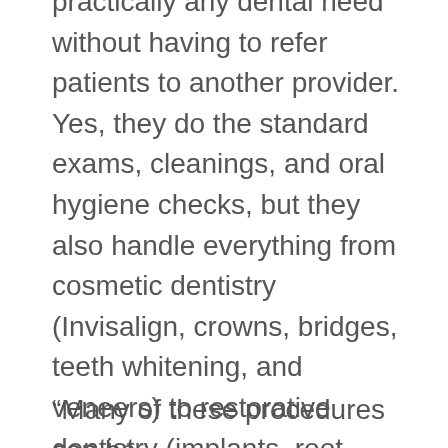practically any dental need without having to refer patients to another provider. Yes, they do the standard exams, cleanings, and oral hygiene checks, but they also handle everything from cosmetic dentistry (Invisalign, crowns, bridges, teeth whitening, and veneers) to restorative dentistry (implants, root canals, dentures, wisdom teeth extractions, and fillings).
“Many of these procedures can be